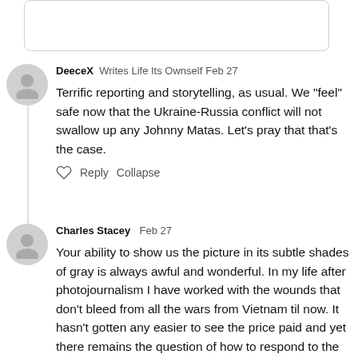[Figure (other): Top portion of a rounded rectangle input/text box, partially visible at top of page]
DeeceX   Writes Life Its Ownself   Feb 27
Terrific reporting and storytelling, as usual. We "feel" safe now that the Ukraine-Russia conflict will not swallow up any Johnny Matas. Let's pray that that's the case.
Reply   Collapse
Charles Stacey   Feb 27
Your ability to show us the picture in its subtle shades of gray is always awful and wonderful. In my life after photojournalism I have worked with the wounds that don't bleed from all the wars from Vietnam til now. It hasn't gotten any easier to see the price paid and yet there remains the question of how to respond to the authoritarian bully whether at home or abroad. It's painful to watch and know that to be a witness is to be a victim.